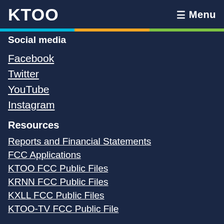KTOO  Menu
Social media
Facebook
Twitter
YouTube
Instagram
Resources
Reports and Financial Statements
FCC Applications
KTOO FCC Public Files
KRNN FCC Public Files
KXLL FCC Public Files
KTOO-TV FCC Public File